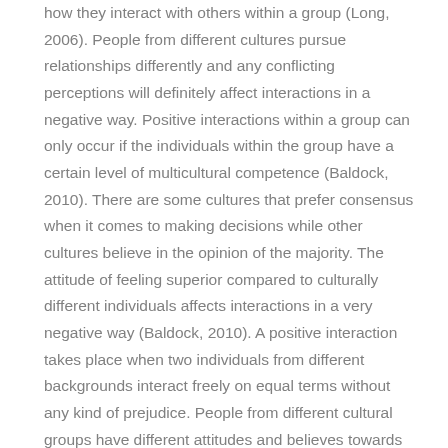how they interact with others within a group (Long, 2006). People from different cultures pursue relationships differently and any conflicting perceptions will definitely affect interactions in a negative way. Positive interactions within a group can only occur if the individuals within the group have a certain level of multicultural competence (Baldock, 2010). There are some cultures that prefer consensus when it comes to making decisions while other cultures believe in the opinion of the majority. The attitude of feeling superior compared to culturally different individuals affects interactions in a very negative way (Baldock, 2010). A positive interaction takes place when two individuals from different backgrounds interact freely on equal terms without any kind of prejudice. People from different cultural groups have different attitudes and believes towards information disclosure (Brislin, 1981). Some cultures allow individuals to be frank with their emotion and do not find anything wrong in people disclosing their personal information in the course of their interactions with others.